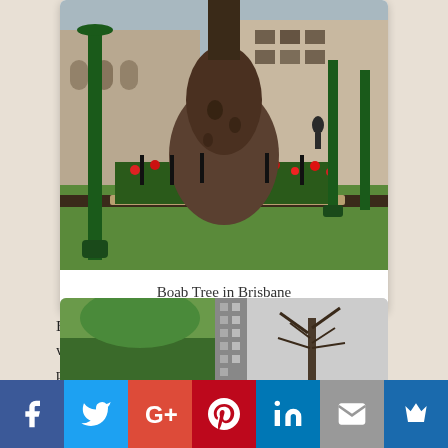[Figure (photo): Large boab tree in a Brisbane park with red flower garden bed, green lamp posts, stone wall building and people in background]
Boab Tree in Brisbane
Boabs are deciduous so loose their leaves in the winter months ~ They flower in the spring and then produce large seed pods or nuts, which are a nutritious food source used by the Aboriginal people and are sometimes carved with beautiful decoration.
[Figure (photo): Strip showing boab trees in an urban setting, partially visible at bottom of page]